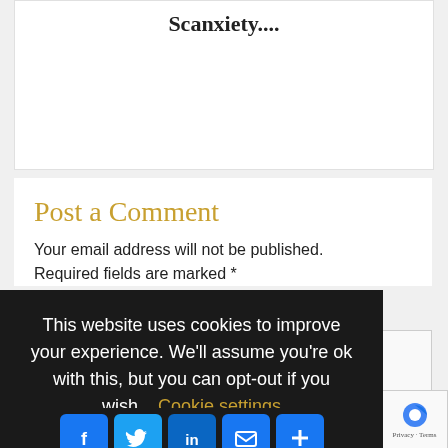Scanxiety....
Post a Comment
Your email address will not be published. Required fields are marked *
This website uses cookies to improve your experience. We'll assume you're ok with this, but you can opt-out if you wish.  Cookie settings
ACCEPT
[Figure (infographic): Social sharing icons row: Facebook, Twitter, LinkedIn, Mail, and Plus buttons in blue rounded squares]